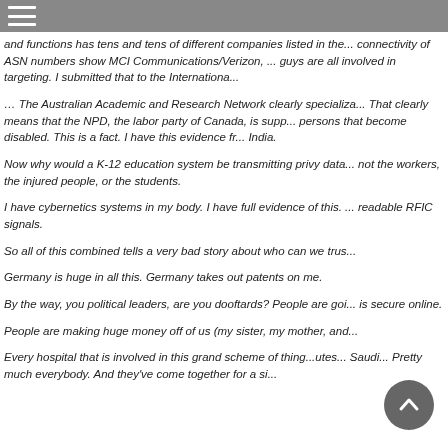and functions has tens and tens of different companies listed in the... connectivity of ASN numbers show MCI Communications/Verizon, ... guys are all involved in targeting. I submitted that to the Internationa...
… The Australian Academic and Research Network clearly specializa... That clearly means that the NPD, the labor party of Canada, is supp... persons that become disabled. This is a fact. I have this evidence fr... India.
Now why would a K-12 education system be transmitting privy data... not the workers, the injured people, or the students.
I have cybernetics systems in my body. I have full evidence of this. ... readable RFIC signals.
So all of this combined tells a very bad story about who can we trus...
Germany is huge in all this. Germany takes out patents on me.
By the way, you political leaders, are you dooftards? People are goi... is secure online.
People are making huge money off of us (my sister, my mother, and...
Every hospital that is involved in this grand scheme of thing... utes... Saudi... Pretty much everybody. And they've come together for a si...